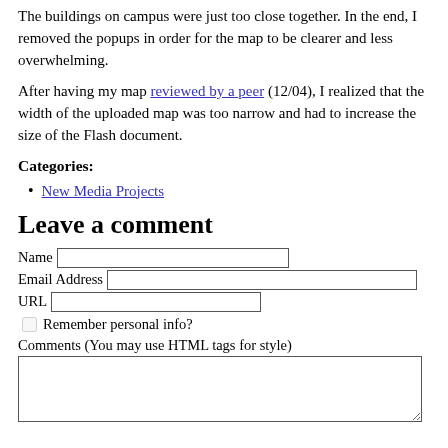The buildings on campus were just too close together. In the end, I removed the popups in order for the map to be clearer and less overwhelming.
After having my map reviewed by a peer (12/04), I realized that the width of the uploaded map was too narrow and had to increase the size of the Flash document.
Categories:
New Media Projects
Leave a comment
Name [input field]
Email Address [input field]
URL [input field]
Remember personal info? [checkbox]
Comments (You may use HTML tags for style) [textarea]